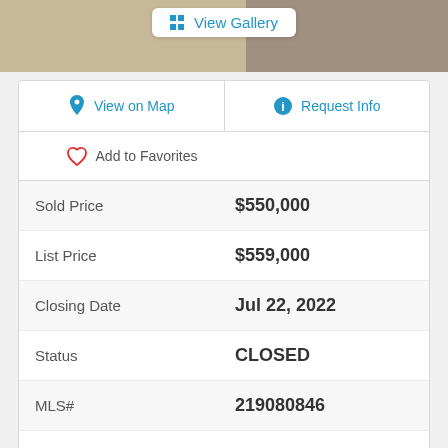[Figure (photo): Top portion showing property photo strip with View Gallery button]
| View on Map | Request Info |
| Add to Favorites |  |
| Sold Price | $550,000 |
| List Price | $559,000 |
| Closing Date | Jul 22, 2022 |
| Status | CLOSED |
| MLS# | 219080846 |
| Year Built | 1978 |